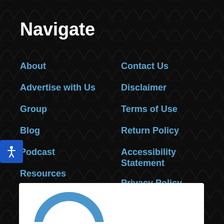Navigate
About
Advertise with Us
Group
Blog
Podcast
Resources
Merch Store
Contact Us
Disclaimer
Terms of Use
Return Policy
Accessibility Statement
Privacy Policy
[Figure (logo): Blue arc logo partially visible at the bottom of the page on a white background]